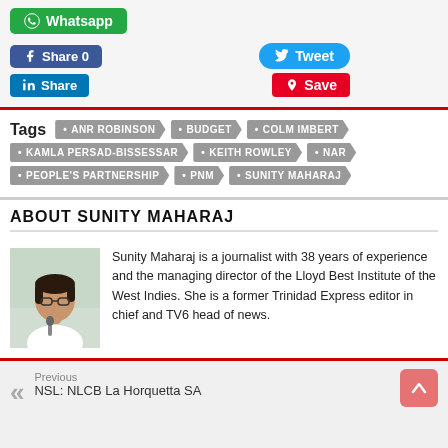[Figure (screenshot): Social media sharing buttons: WhatsApp (green), Facebook Share 0 (blue), Tweet (light blue), LinkedIn Share (blue), Pinterest Save (red)]
Tags: ANR ROBINSON • BUDGET • COLM IMBERT • KAMLA PERSAD-BISSESSAR • KEITH ROWLEY • NAR • PEOPLE'S PARTNERSHIP • PNM • SUNITY MAHARAJ
ABOUT SUNITY MAHARAJ
[Figure (photo): Photo of Sunity Maharaj, a woman with glasses holding a microphone, wearing white.]
Sunity Maharaj is a journalist with 38 years of experience and the managing director of the Lloyd Best Institute of the West Indies. She is a former Trinidad Express editor in chief and TV6 head of news.
Previous
NSL: NLCB La Horquetta SA